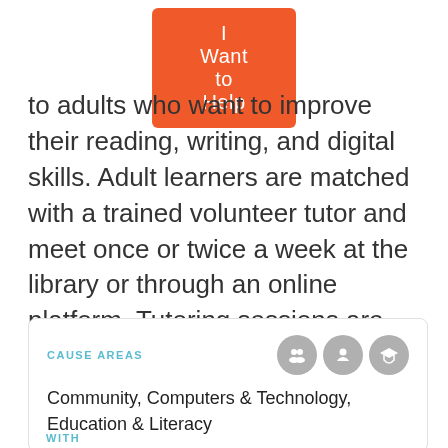[Figure (other): Orange 'I Want to Help' button]
to adults who want to improve their reading, writing, and digital skills. Adult learners are matched with a trained volunteer tutor and meet once or twice a week at the library or through an online platform. Tutoring sessions are goal and student-centered oriented.
CAUSE AREAS
Community, Computers & Technology, Education & Literacy
WITH